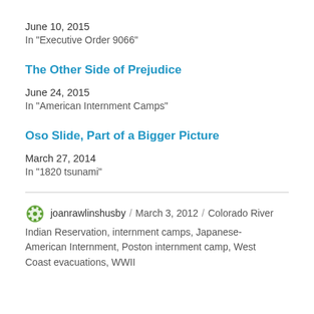June 10, 2015
In "Executive Order 9066"
The Other Side of Prejudice
June 24, 2015
In "American Internment Camps"
Oso Slide, Part of a Bigger Picture
March 27, 2014
In "1820 tsunami"
joanrawlinshusby / March 3, 2012 / Colorado River Indian Reservation, internment camps, Japanese-American Internment, Poston internment camp, West Coast evacuations, WWII